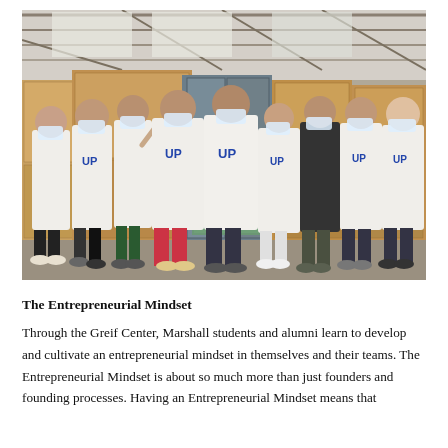[Figure (photo): Group of approximately ten young people wearing white hooded sweatshirts with 'UP' logo and face masks, standing in a warehouse surrounded by large cardboard boxes and pallets, making peace signs.]
The Entrepreneurial Mindset
Through the Greif Center, Marshall students and alumni learn to develop and cultivate an entrepreneurial mindset in themselves and their teams. The Entrepreneurial Mindset is about so much more than just founders and founding processes. Having an Entrepreneurial Mindset means that